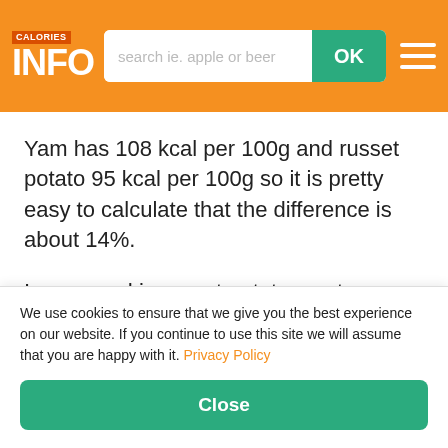CALORIES INFO — search ie. apple or beer — OK — menu
Yam has 108 kcal per 100g and russet potato 95 kcal per 100g so it is pretty easy to calculate that the difference is about 14%.
In yam and in russet potato most calories came from carbs.
We use cookies to ensure that we give you the best experience on our website. If you continue to use this site we will assume that you are happy with it. Privacy Policy
Close